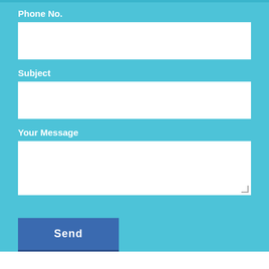Phone No.
Subject
Your Message
Send
Fully insured
Not a Franchise